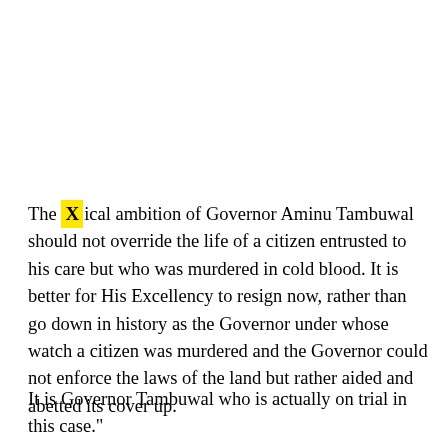The [X]ical ambition of Governor Aminu Tambuwal should not override the life of a citizen entrusted to his care but who was murdered in cold blood. It is better for His Excellency to resign now, rather than go down in history as the Governor under whose watch a citizen was murdered and the Governor could not enforce the laws of the land but rather aided and abetted its cover up.
It is Governor Tambuwal who is actually on trial in this case."